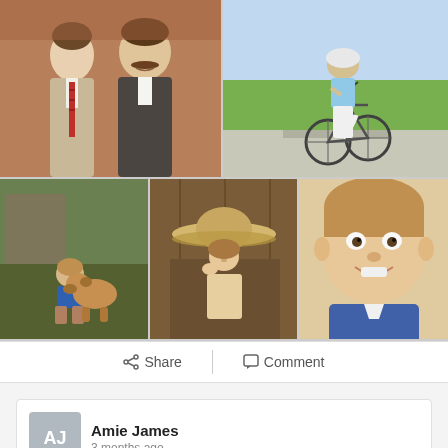[Figure (photo): Grid of 5 personal/childhood photographs. Top-left: two men in suits posing together. Top-right: child riding a bicycle on a sidewalk. Bottom-left: young child sitting with a dog on grass. Bottom-center: young child wearing a large straw hat. Bottom-right: young child smiling close-up.]
Share   Comment
Amie James
3 months ago
I know you were excited to be on the cover of Ride, so I have attempted to post it-hopefully it comes out. You will be missed here in Fort Collins. Such a unique soul and